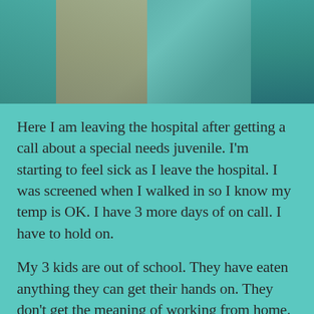[Figure (photo): Photo of a person leaving a hospital, cropped showing upper portion with colorful clothing/scarf visible]
Here I am leaving the hospital after getting a call about a special needs juvenile. I'm starting to feel sick as I leave the hospital. I was screened when I walked in so I know my temp is OK. I have 3 more days of on call. I have to hold on.
My 3 kids are out of school. They have eaten anything they can get their hands on. They don't get the meaning of working from home. I have had deadlines and paperwork on top on more deadlines and paperwork. I have had to have conversations with clients while my dogs